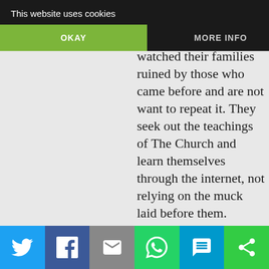[Figure (screenshot): Cookie consent banner overlay with 'This website uses cookies' text, OKAY button (green) and MORE INFO button]
their parents and grandparents silly and trite. They have watched their families ruined by those who came before and are not want to repeat it. They seek out the teachings of The Church and learn themselves through the internet, not relying on the muck laid before them.

The young people I know? Of course they follow Church
[Figure (infographic): Social share bar at bottom with Twitter, Facebook, Email, WhatsApp, SMS, and other sharing buttons]